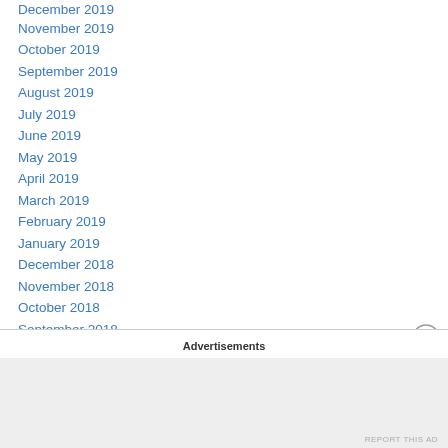December 2019
November 2019
October 2019
September 2019
August 2019
July 2019
June 2019
May 2019
April 2019
March 2019
February 2019
January 2019
December 2018
November 2018
October 2018
September 2018
August 2018
Advertisements
REPORT THIS AD